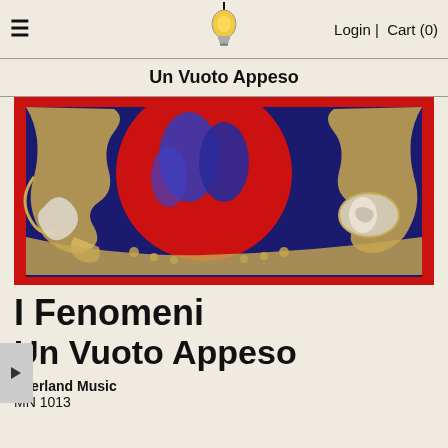≡  [bulb logo]  Login | Cart (0)
Un Vuoto Appeso
[Figure (photo): Album artwork for 'Un Vuoto Appeso' by I Fenomeni — a decorative baroque-style illustration with gold scrollwork and flourishes on a navy blue background with a large red circle containing abstract red and blue figure silhouettes. Red border surrounds the image.]
I Fenomeni
Un Vuoto Appeso
Everland Music
MN 1013